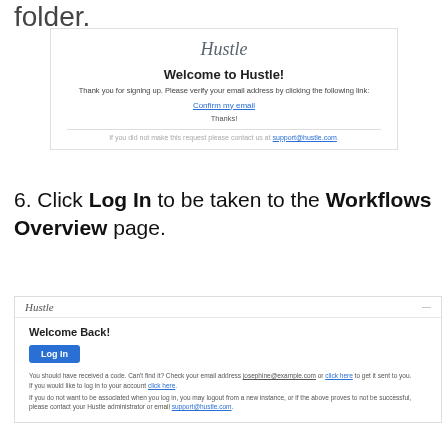folder.
[Figure (screenshot): Email screenshot showing Hustle welcome email with 'Welcome to Hustle!' heading, a 'Confirm my email' link, 'Thanks!' sign-off, and a footer with support@hustle.com contact.]
6. Click Log In to be taken to the Workflows Overview page.
[Figure (screenshot): Screenshot of Hustle login page showing 'Welcome Back!' heading, a blue 'Log In' button, and text about account credentials and support contact.]